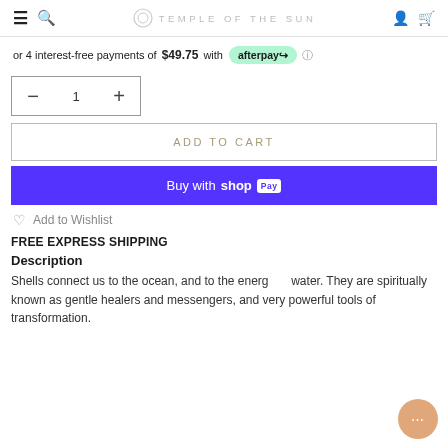TEMPLE OF THE SUN
or 4 interest-free payments of $49.75 with afterpay
[Figure (other): Quantity selector with minus, 1, plus buttons in a bordered box]
[Figure (other): ADD TO CART button, outlined style]
[Figure (other): Buy with shopPay button, purple background]
Add to Wishlist
FREE EXPRESS SHIPPING
Description
Shells connect us to the ocean, and to the energy of water. They are spiritually known as gentle healers and messengers, and very powerful tools of transformation.